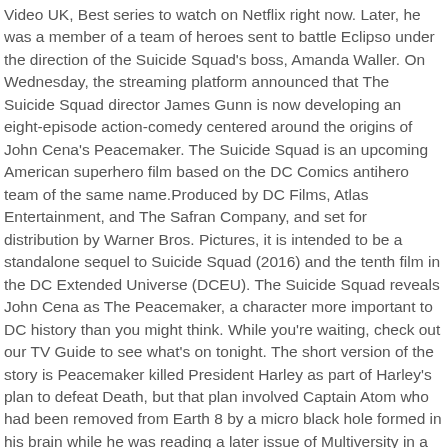Video UK, Best series to watch on Netflix right now. Later, he was a member of a team of heroes sent to battle Eclipso under the direction of the Suicide Squad's boss, Amanda Waller. On Wednesday, the streaming platform announced that The Suicide Squad director James Gunn is now developing an eight-episode action-comedy centered around the origins of John Cena's Peacemaker. The Suicide Squad is an upcoming American superhero film based on the DC Comics antihero team of the same name.Produced by DC Films, Atlas Entertainment, and The Safran Company, and set for distribution by Warner Bros. Pictures, it is intended to be a standalone sequel to Suicide Squad (2016) and the tenth film in the DC Extended Universe (DCEU). The Suicide Squad reveals John Cena as The Peacemaker, a character more important to DC history than you might think. While you're waiting, check out our TV Guide to see what's on tonight. The short version of the story is Peacemaker killed President Harley as part of Harley's plan to defeat Death, but that plan involved Captain Atom who had been removed from Earth 8 by a micro black hole formed in his brain while he was reading a later issue of Multiversity in a supercollider, so the plan might have been foiled. Seriously, Peacemaker was the character Alan Moore and Dave Gibbons based The Comedian on in Watchmen. Filming is